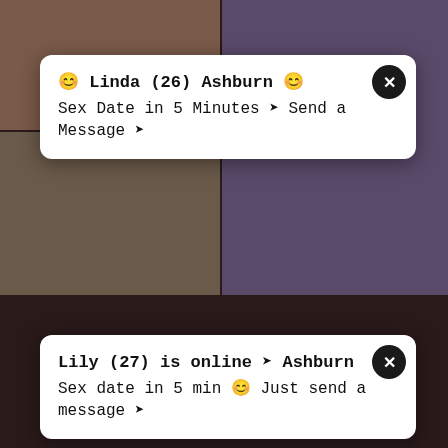[Figure (screenshot): Adult video website screenshot with popup notification overlays and video thumbnails]
😊 Linda (26) Ashburn 😊
Sex Date in 5 Minutes ➡ Send a Message ➡
Lily (27) is online ➡ Ashburn
Sex date in 5 min 😊 Just send a message ➡
This teenie college gir
Risky Public Fuck In Tropical
👍 66%   🕐 12:37
👍 66%